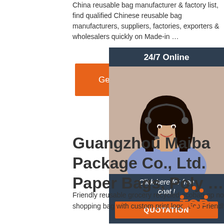China reusable bag manufacturer & factory list, find qualified Chinese reusable bag manufacturers, suppliers, factories, exporters & wholesalers quickly on Made-in …
[Figure (screenshot): Orange 'Get Price' button]
[Figure (photo): 24/7 Online chat widget with a woman wearing a headset, dark blue background, with 'Click here for free chat!' text and orange QUOTATION button]
Guangzhou Maiba Package Co., Ltd. Paper Bags, Poly …
Friendly reusable grocery recycled ecobag pp nonwoven bags laminated non woven fabric carry shopping bag with custom print logo. Eco Friendly. Non Woven Bag. Logo Printed. $0.01